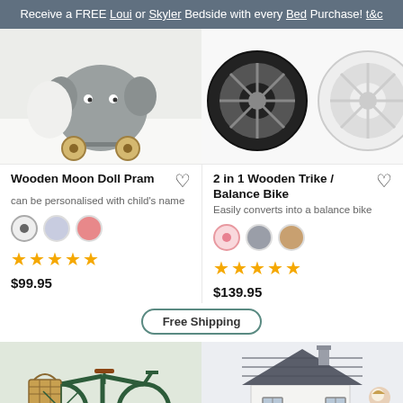Receive a FREE Loui or Skyler Bedside with every Bed Purchase! t&c
[Figure (photo): Wooden Moon Doll Pram product photo - grey elephant/moon shaped wooden toy pram with wooden wheels]
[Figure (photo): 2 in 1 Wooden Trike / Balance Bike product photo - close-up of white trike wheels]
Wooden Moon Doll Pram
can be personalised with child's name
2 in 1 Wooden Trike / Balance Bike
Easily converts into a balance bike
$99.95
$139.95
Free Shipping
[Figure (photo): Green kids bicycle with wicker basket and brown leather seat]
[Figure (photo): Grey wooden doll house with dark roof and child looking at it]